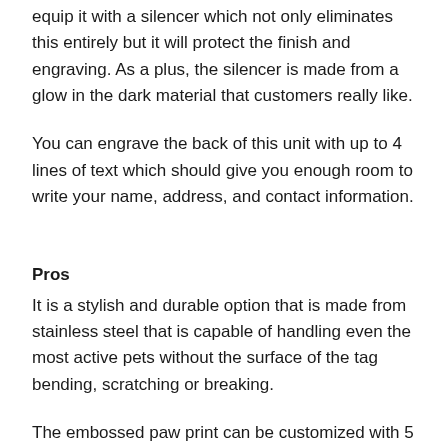equip it with a silencer which not only eliminates this entirely but it will protect the finish and engraving. As a plus, the silencer is made from a glow in the dark material that customers really like.
You can engrave the back of this unit with up to 4 lines of text which should give you enough room to write your name, address, and contact information.
Pros
It is a stylish and durable option that is made from stainless steel that is capable of handling even the most active pets without the surface of the tag bending, scratching or breaking.
The embossed paw print can be customized with 5 enamel